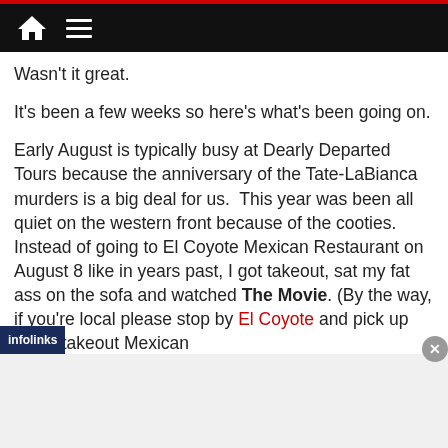[Navigation bar with home icon and menu icon]
Wasn’t it great.
It’s been a few weeks so here’s what’s been going on.
Early August is typically busy at Dearly Departed Tours because the anniversary of the Tate-LaBianca murders is a big deal for us.  This year was been all quiet on the western front because of the cooties.  Instead of going to El Coyote Mexican Restaurant on August 8 like in years past, I got takeout, sat my fat ass on the sofa and watched The Movie. (By the way, if you’re local please stop by El Coyote and pick up some takeout Mexican